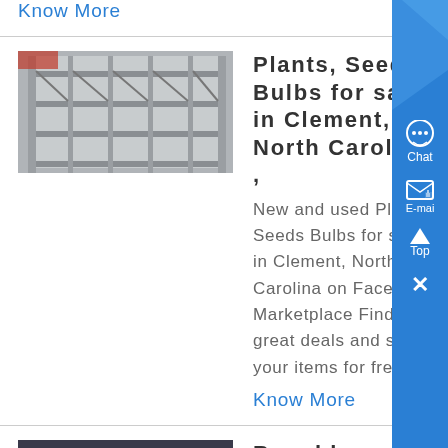Know More
Plants, Seeds Bulbs for sale in Clement, North Carolina ,
[Figure (photo): Industrial metal shelving or racking structure in a warehouse]
New and used Plants, Seeds Bulbs for sale in Clement, North Carolina on Facebook Marketplace Find great deals and sell your items for free...
Know More
Bunchberry Nurseries
[Figure (photo): Yellow industrial push-button emergency stop box with large red button]
Garden Centre in beautiful Upper Clements, Nova Scotia noted for the impressive selection of heaths and heathers, native and alpine plants and other popular and/or unusual perennials, conifers and shrubs